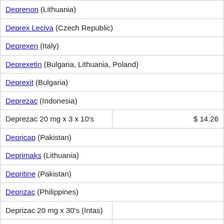| Deprenon (Lithuania) |  |
| Deprex Leciva (Czech Republic) |  |
| Deprexen (Italy) |  |
| Deprexetin (Bulgaria, Lithuania, Poland) |  |
| Deprexit (Bulgaria) |  |
| Deprezac (Indonesia) |  |
| Deprezac 20 mg x 3 x 10's | $ 14.26 |
| Depricap (Pakistan) |  |
| Deprimaks (Lithuania) |  |
| Depritine (Pakistan) |  |
| Deprizac (Philippines) |  |
| Deprizac 20 mg x 30's (Intas) |  |
| Deprizac cap 20 mg 30's (Intas) |  |
| Deprox (India, Pakistan) |  |